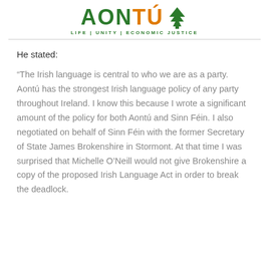[Figure (logo): Aontú party logo with green tree icon, text 'AONTÚ' in green and orange, tagline 'LIFE | UNITY | ECONOMIC JUSTICE' in green]
He stated:
“The Irish language is central to who we are as a party. Aontú has the strongest Irish language policy of any party throughout Ireland. I know this because I wrote a significant amount of the policy for both Aontú and Sinn Féin. I also negotiated on behalf of Sinn Féin with the former Secretary of State James Brokenshire in Stormont. At that time I was surprised that Michelle O’Neill would not give Brokenshire a copy of the proposed Irish Language Act in order to break the deadlock.